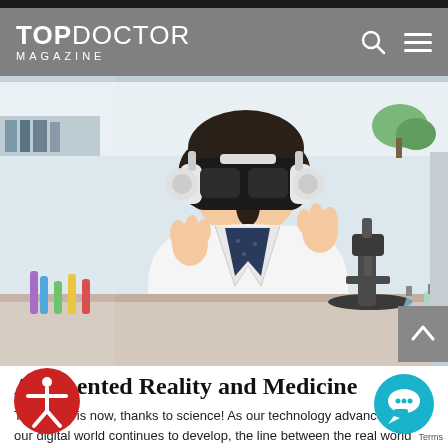TOP DOCTOR MAGAZINE
[Figure (photo): A woman in a white lab coat wearing a VR headset in a laboratory setting with test tubes and a microscope visible in the background.]
Augmented Reality and Medicine
The future is now, thanks to science! As our technology advances and our digital world continues to develop, the line between the real world and the digital becomes increasingly